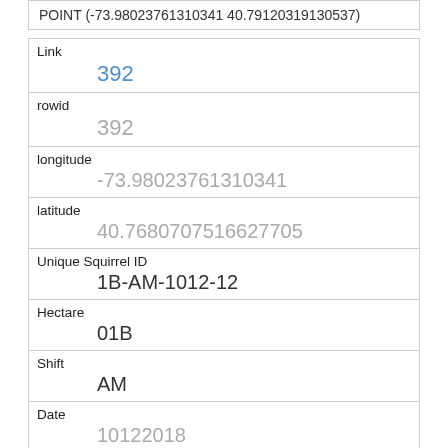POINT (-73.98023761310341 40.76807075166270507)
| Link | 392 |
| rowid | 392 |
| longitude | -73.98023761310341 |
| latitude | 40.7680707516627705 |
| Unique Squirrel ID | 1B-AM-1012-12 |
| Hectare | 01B |
| Shift | AM |
| Date | 10122018 |
| Hectare Squirrel Number | 12 |
| Age |  |